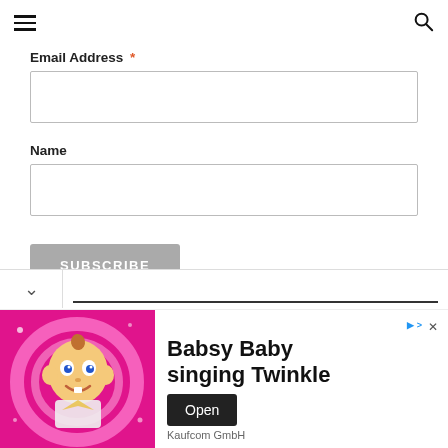Navigation header with hamburger menu and search icon
Email Address *
Name
SUBSCRIBE
[Figure (screenshot): Advertisement banner for 'Babsy Baby singing Twinkle' by Kaufcom GmbH with Open button and close/ad label icons]